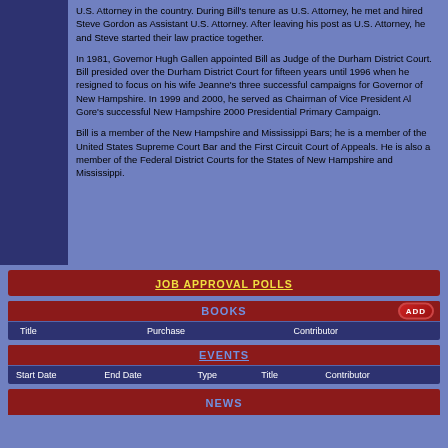U.S. Attorney in the country. During Bill's tenure as U.S. Attorney, he met and hired Steve Gordon as Assistant U.S. Attorney. After leaving his post as U.S. Attorney, he and Steve started their law practice together.
In 1981, Governor Hugh Gallen appointed Bill as Judge of the Durham District Court. Bill presided over the Durham District Court for fifteen years until 1996 when he resigned to focus on his wife Jeanne's three successful campaigns for Governor of New Hampshire. In 1999 and 2000, he served as Chairman of Vice President Al Gore's successful New Hampshire 2000 Presidential Primary Campaign.
Bill is a member of the New Hampshire and Mississippi Bars; he is a member of the United States Supreme Court Bar and the First Circuit Court of Appeals. He is also a member of the Federal District Courts for the States of New Hampshire and Mississippi.
JOB APPROVAL POLLS
BOOKS
| Title | Purchase | Contributor |
| --- | --- | --- |
EVENTS
| Start Date | End Date | Type | Title | Contributor |
| --- | --- | --- | --- | --- |
NEWS